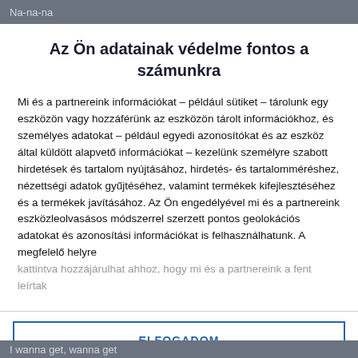Na-na-na
Az Ön adatainak védelme fontos a számunkra
Mi és a partnereink információkat – például sütiket – tárolunk egy eszközön vagy hozzáférünk az eszközön tárolt információkhoz, és személyes adatokat – például egyedi azonosítókat és az eszköz által küldött alapvető információkat – kezelünk személyre szabott hirdetések és tartalom nyújtásához, hirdetés- és tartalomméréshez, nézettségi adatok gyűjtéséhez, valamint termékek kifejlesztéséhez és a termékek javításához. Az Ön engedélyével mi és a partnereink eszközleolvasásos módszerrel szerzett pontos geolokációs adatokat és azonosítási információkat is felhasználhatunk. A megfelelő helyre kattintva hozzájárulhat ahhoz, hogy mi és a partnereink a fent leírtak
ELFOGADOM
TOVÁBBI LEHETŐSÉGEK
I wanna get, wanna get